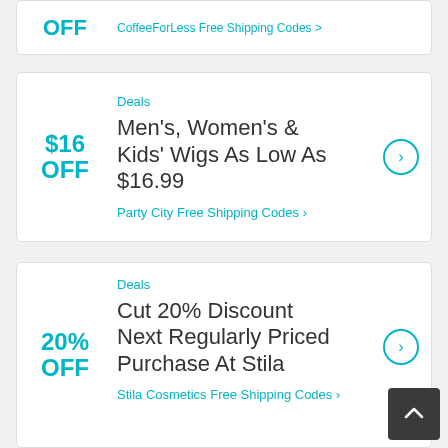OFF
CoffeeForLess Free Shipping Codes
Deals
$16 OFF
Men's, Women's & Kids' Wigs As Low As $16.99
Party City Free Shipping Codes
Deals
20% OFF
Cut 20% Discount Next Regularly Priced Purchase At Stila
Stila Cosmetics Free Shipping Codes